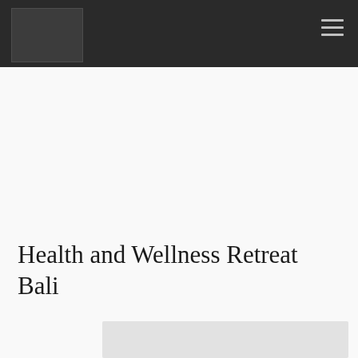[Figure (logo): Dark grey square logo placeholder in top navigation bar]
Health and Wellness Retreat Bali
[Figure (photo): Partial image visible at bottom of page]